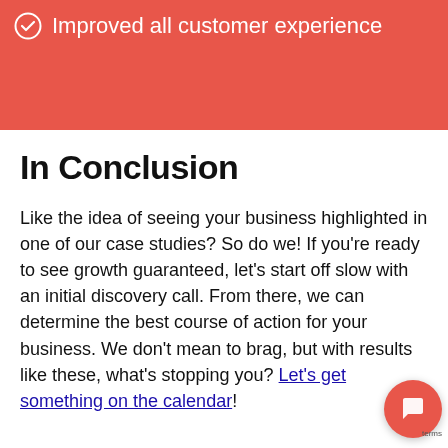Improved all customer experience
In Conclusion
Like the idea of seeing your business highlighted in one of our case studies? So do we! If you're ready to see growth guaranteed, let's start off slow with an initial discovery call. From there, we can determine the best course of action for your business. We don't mean to brag, but with results like these, what's stopping you? Let's get something on the calendar!